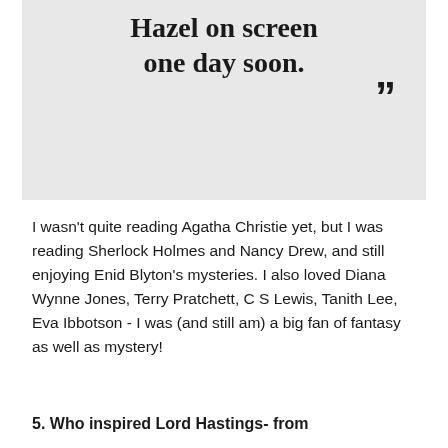... see Hazel on screen one day soon. ”
I wasn't quite reading Agatha Christie yet, but I was reading Sherlock Holmes and Nancy Drew, and still enjoying Enid Blyton’s mysteries. I also loved Diana Wynne Jones, Terry Pratchett, C S Lewis, Tanith Lee, Eva Ibbotson - I was (and still am) a big fan of fantasy as well as mystery!
5. Who inspired Lord Hastings- from